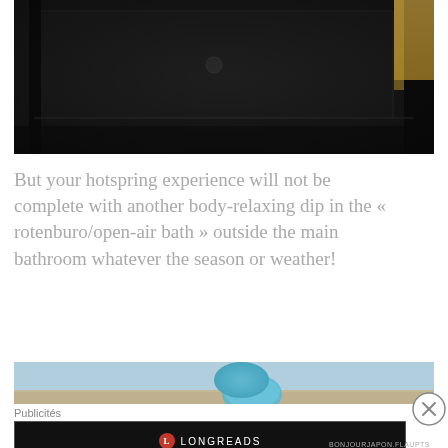[Figure (photo): Dark overhead view of a hot spring or bath pool with dark reflective water surface and wooden decking visible, rectangular shape]
But your hotspring experience will not be complete with another body-relaxing dip in the « rotenburo/open-air bath » outside the main bathroom whatever the season or weather!
[Figure (photo): Partial view of an outdoor hot spring or rotenburo bath with light blue water and wooden deck edge, partial blue spherical object visible]
Publicités
[Figure (screenshot): Longreads advertisement banner with black background showing Longreads logo and tagline 'Read anything great lately?']